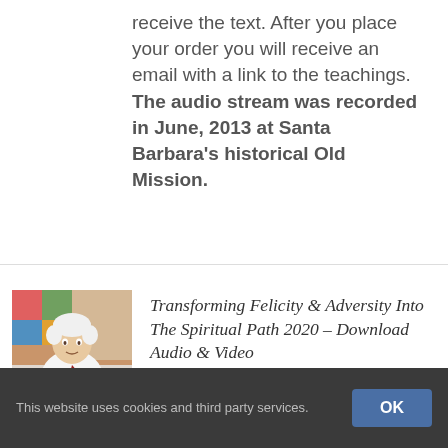receive the text. After you place your order you will receive an email with a link to the teachings. The audio stream was recorded in June, 2013 at Santa Barbara's historical Old Mission.
[Figure (photo): Elderly person with white hair wearing white shirt and red sash, seated with artwork visible in background]
Transforming Felicity & Adversity Into The Spiritual Path 2020 – Download Audio & Video
$108.00 – $220.00
This website uses cookies and third party services.